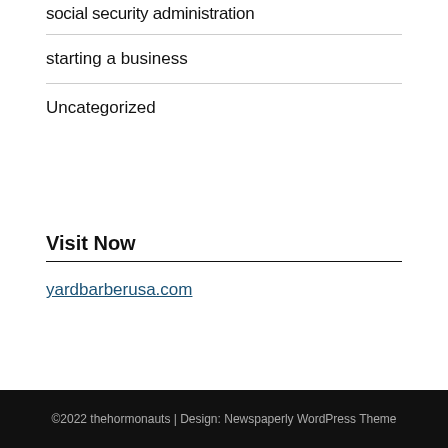social security administration
starting a business
Uncategorized
Visit Now
yardbarberusa.com
©2022 thehormonauts | Design: Newspaperly WordPress Theme